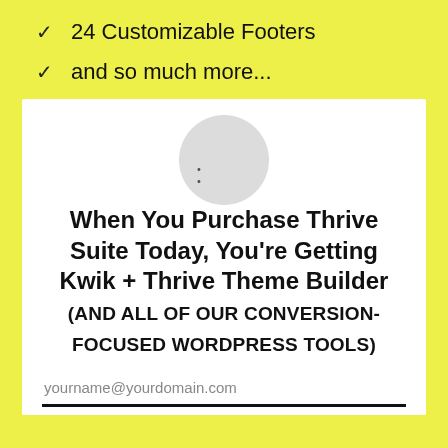24 Customizable Footers
and so much more...
[Figure (logo): Gray circle logo placeholder with two small dots]
When You Purchase Thrive Suite Today, You’re Getting Kwik + Thrive Theme Builder (AND ALL OF OUR CONVERSION-FOCUSED WORDPRESS TOOLS)
yourname@yourdomain.com